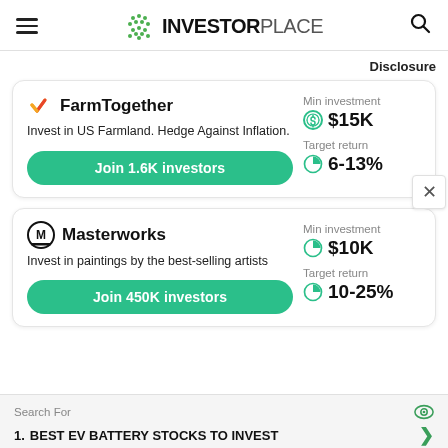INVESTORPLACE
Disclosure
[Figure (infographic): FarmTogether investment card. Logo with orange/red checkmark icon. Title: FarmTogether. Description: Invest in US Farmland. Hedge Against Inflation. Button: Join 1.6K investors. Min investment: $15K. Target return: 6-13%.]
[Figure (infographic): Masterworks investment card. Logo with M in circle icon. Title: Masterworks. Description: Invest in paintings by the best-selling artists. Button: Join 450K investors. Min investment: $10K. Target return: 10-25%.]
Search For
1. BEST EV BATTERY STOCKS TO INVEST
Ad | Premium Searches